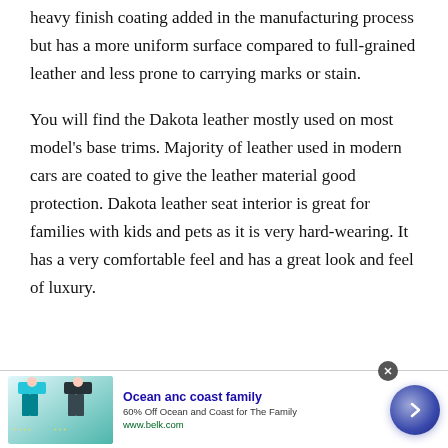it has a slightly more plastic feel because of the heavy finish coating added in the manufacturing process but has a more uniform surface compared to full-grained leather and less prone to carrying marks or stain.
You will find the Dakota leather mostly used on most model's base trims. Majority of leather used in modern cars are coated to give the leather material good protection. Dakota leather seat interior is great for families with kids and pets as it is very hard-wearing. It has a very comfortable feel and has a great look and feel of luxury.
[Figure (other): Advertisement banner for Ocean anc coast family - 60% Off Ocean and Coast for The Family, www.belk.com, showing swimwear product images and a blue arrow button.]